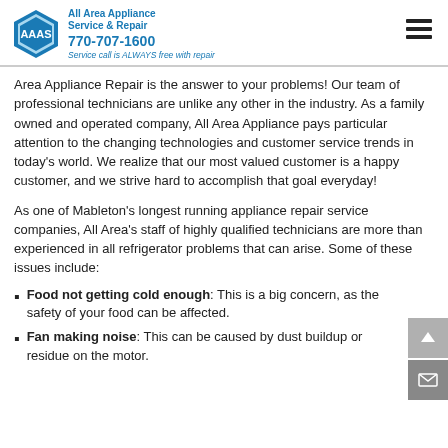All Area Appliance Service & Repair 770-707-1600 Service call is ALWAYS free with repair
Area Appliance Repair is the answer to your problems!  Our team of professional technicians are unlike any other in the industry.  As a family owned and operated company, All Area Appliance pays particular attention to the changing technologies and customer service trends in today's world.  We realize that our most valued customer is a happy customer, and we strive hard to accomplish that goal everyday!
As one of Mableton's longest running appliance repair service companies, All Area's staff of highly qualified technicians are more than experienced in all refrigerator problems that can arise.  Some of these issues include:
Food not getting cold enough: This is a big concern, as the safety of your food can be affected.
Fan making noise: This can be caused by dust buildup or residue on the motor.